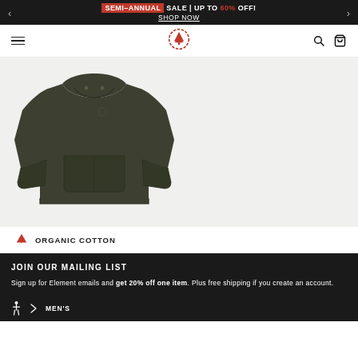SEMI-ANNUAL SALE | UP TO 60% OFF! SHOP NOW
[Figure (logo): Element brand logo - red circular badge with tree icon]
[Figure (photo): Dark olive/army green pullover hoodie with kangaroo pocket, laid flat on light gray background]
ORGANIC COTTON
JOIN OUR MAILING LIST
Sign up for Element emails and get 20% off one item. Plus free shipping if you create an account.
MEN'S